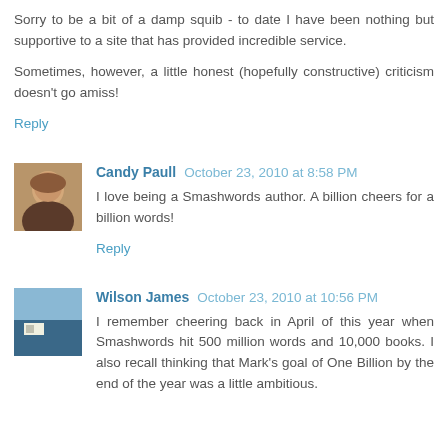Sorry to be a bit of a damp squib - to date I have been nothing but supportive to a site that has provided incredible service.
Sometimes, however, a little honest (hopefully constructive) criticism doesn't go amiss!
Reply
Candy Paull  October 23, 2010 at 8:58 PM
I love being a Smashwords author. A billion cheers for a billion words!
Reply
Wilson James  October 23, 2010 at 10:56 PM
I remember cheering back in April of this year when Smashwords hit 500 million words and 10,000 books. I also recall thinking that Mark's goal of One Billion by the end of the year was a little ambitious.